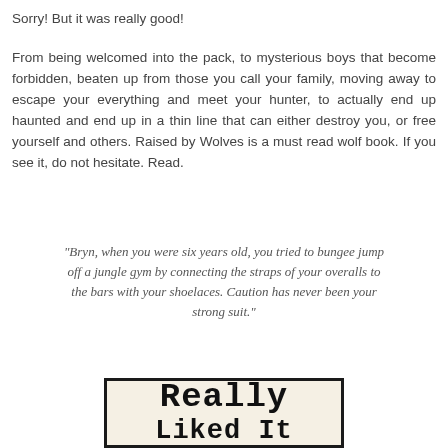Sorry! But it was really good!
From being welcomed into the pack, to mysterious boys that become forbidden, beaten up from those you call your family, moving away to escape your everything and meet your hunter, to actually end up haunted and end up in a thin line that can either destroy you, or free yourself and others. Raised by Wolves is a must read wolf book. If you see it, do not hesitate. Read.
"Bryn, when you were six years old, you tried to bungee jump off a jungle gym by connecting the straps of your overalls to the bars with your shoelaces. Caution has never been your strong suit."
[Figure (illustration): A framed sign with a cream/off-white background and dark border showing the text 'Really Liked It' in a typewriter-style font.]